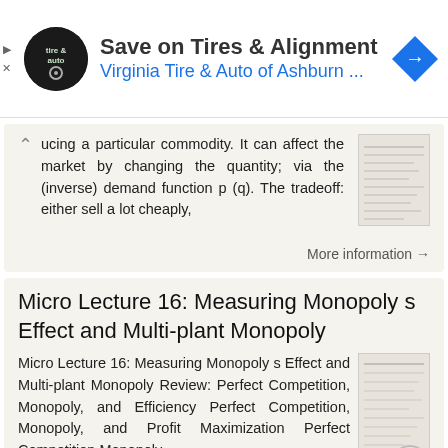[Figure (screenshot): Advertisement banner for Virginia Tire & Auto of Ashburn with logo, title 'Save on Tires & Alignment', subtitle 'Virginia Tire & Auto of Ashburn ...', and a blue navigation arrow icon]
ucing a particular commodity. It can affect the market by changing the quantity; via the (inverse) demand function p (q). The tradeoff: either sell a lot cheaply,
More information →
Micro Lecture 16: Measuring Monopoly s Effect and Multi-plant Monopoly
Micro Lecture 16: Measuring Monopoly s Effect and Multi-plant Monopoly Review: Perfect Competition, Monopoly, and Efficiency Perfect Competition, Monopoly, and Profit Maximization Perfect Competition Monopoly
More information →